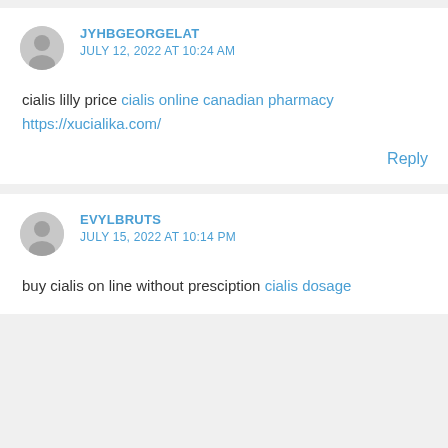JYHBGEORGELAT | JULY 12, 2022 AT 10:24 AM | cialis lilly price cialis online canadian pharmacy https://xucialika.com/ | Reply
EVYLBRUTS | JULY 15, 2022 AT 10:14 PM | buy cialis on line without presciption cialis dosage